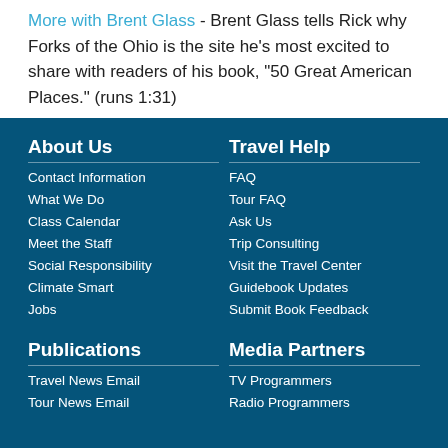More with Brent Glass - Brent Glass tells Rick why Forks of the Ohio is the site he's most excited to share with readers of his book, "50 Great American Places." (runs 1:31)
About Us
Contact Information
What We Do
Class Calendar
Meet the Staff
Social Responsibility
Climate Smart
Jobs
Travel Help
FAQ
Tour FAQ
Ask Us
Trip Consulting
Visit the Travel Center
Guidebook Updates
Submit Book Feedback
Publications
Travel News Email
Tour News Email
Media Partners
TV Programmers
Radio Programmers